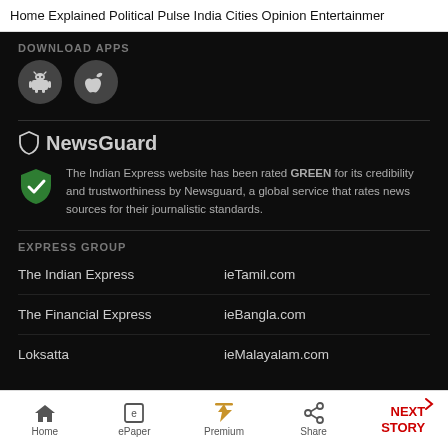Home  Explained  Political Pulse  India  Cities  Opinion  Entertainment
DOWNLOAD APPS
[Figure (illustration): Android and Apple app store download icons as circles]
NewsGuard
The Indian Express website has been rated GREEN for its credibility and trustworthiness by Newsguard, a global service that rates news sources for their journalistic standards.
EXPRESS GROUP
The Indian Express
ieTamil.com
The Financial Express
ieBangla.com
Loksatta
ieMalayalam.com
Home  ePaper  Premium  Share  NEXT STORY